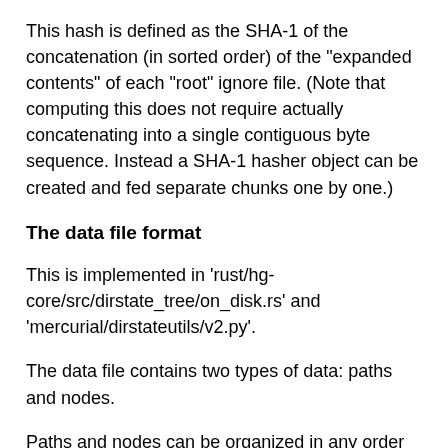This hash is defined as the SHA-1 of the concatenation (in sorted order) of the "expanded contents" of each "root" ignore file. (Note that computing this does not require actually concatenating into a single contiguous byte sequence. Instead a SHA-1 hasher object can be created and fed separate chunks one by one.)
The data file format
This is implemented in 'rust/hg-core/src/dirstate_tree/on_disk.rs' and 'mercurial/dirstateutils/v2.py'.
The data file contains two types of data: paths and nodes.
Paths and nodes can be organized in any order in the file, except that sibling nodes must be next to each other and sorted by their path. Contiguity lets the parent refer to them all by their count and a single pseudo-pointer, instead of storing one pseudo-pointer child. Conti…